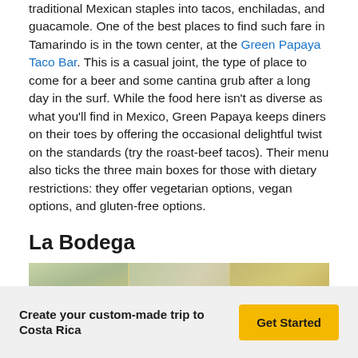traditional Mexican staples into tacos, enchiladas, and guacamole. One of the best places to find such fare in Tamarindo is in the town center, at the Green Papaya Taco Bar. This is a casual joint, the type of place to come for a beer and some cantina grub after a long day in the surf. While the food here isn't as diverse as what you'll find in Mexico, Green Papaya keeps diners on their toes by offering the occasional delightful twist on the standards (try the roast-beef tacos). Their menu also ticks the three main boxes for those with dietary restrictions: they offer vegetarian options, vegan options, and gluten-free options.
La Bodega
[Figure (photo): Three-panel photo strip showing restaurant/outdoor dining scenes at La Bodega]
Create your custom-made trip to Costa Rica
Get Started